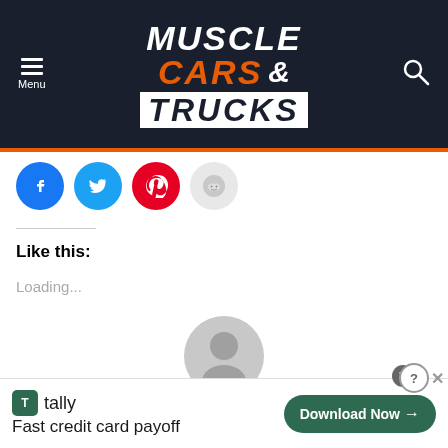Muscle Cars & Trucks
[Figure (logo): Muscle Cars & Trucks website logo on dark navy background with orange accent]
[Figure (infographic): Social share buttons: Facebook (blue), Twitter (blue), Pinterest (red), Reddit (light gray)]
Like this:
Loading...
[Figure (photo): Default gray user avatar/profile picture placeholder]
Written by Sam George
[Figure (infographic): Tally advertisement: Fast credit card payoff. Download Now button.]